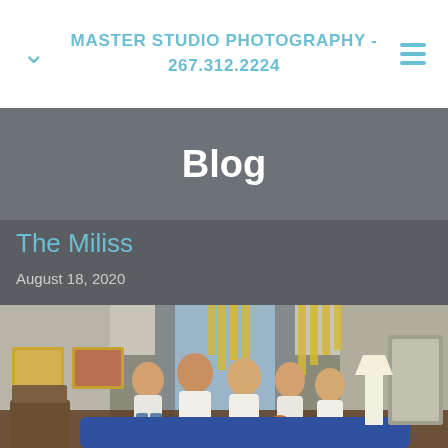MASTER STUDIO PHOTOGRAPHY - 267.312.2224
Blog
The Miliss
August 18, 2020
[Figure (photo): Family photo of the Miliss family posing in an elegantly decorated living room with modern pendant chandelier lights, colorful artwork on the walls, and a dog, all wearing white tops and jeans.]